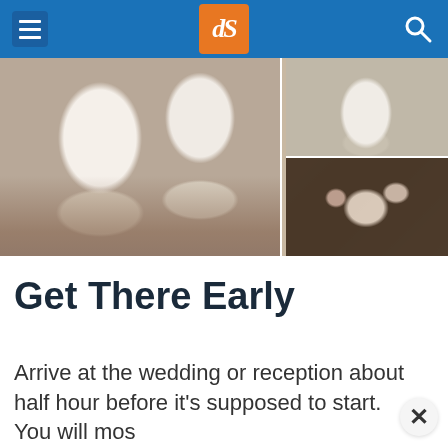dPS (Digital Photography School) website header with menu, logo, and search
[Figure (photo): Wedding cake and flower arrangement photo collage. Left: three white frosted wedding cakes decorated with dark red and pink flowers on a rustic wooden table. Top right: a golden cake stand on a white table outdoors. Bottom right: a floral arrangement with dark red, pink, and white flowers with eucalyptus greenery.]
Get There Early
Arrive at the wedding or reception about half hour before it's supposed to start. You will mos